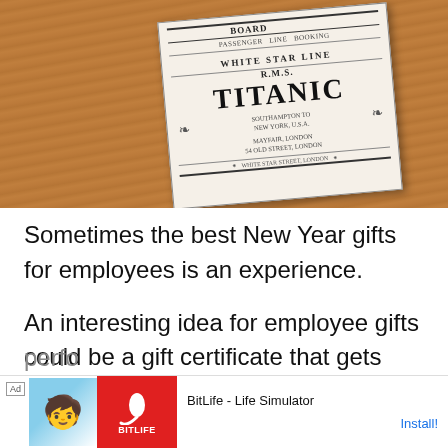[Figure (photo): A Titanic boarding pass / ticket replica card lying on a wooden surface. The card reads 'WHITE STAR LINE R.M.S. TITANIC' in bold serif font with ornamental decorations.]
Sometimes the best New Year gifts for employees is an experience.
An interesting idea for employee gifts could be a gift certificate that gets them a luxurious spa treatment or a ticket to an acclaimed perfo... wond...
[Figure (screenshot): Advertisement banner for BitLife - Life Simulator app with install button.]